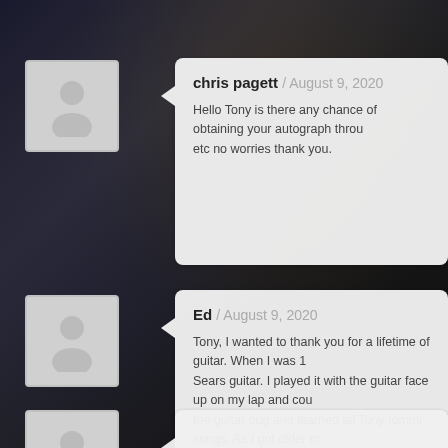[Figure (photo): Dark concert crowd background photo]
chris pagett / August 9, 2020
Hello Tony is there any chance of obtaining your autograph throu etc no worries thank you.
Ed / August 9, 2020
Tony, I wanted to thank you for a lifetime of guitar. When I was 1 Sears guitar. I played it with the guitar face up on my lap and cou the guitar bug and learned all Tony Iommi songs. As I got older m started and who got me into playing guitar. You've impacted my l know that because of you I have been a musician since the secon